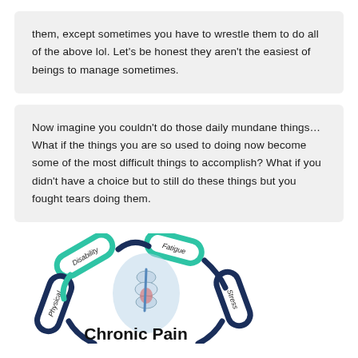them, except sometimes you have to wrestle them to do all of the above lol. Let's be honest they aren't the easiest of beings to manage sometimes.
Now imagine you couldn't do those daily mundane things… What if the things you are so used to doing now become some of the most difficult things to accomplish? What if you didn't have a choice but to still do these things but you fought tears doing them.
[Figure (infographic): Circular chain diagram illustrating Chronic Pain cycle with links labeled: Disability, Fatigue, Stress, Physical. Center shows a spine/joint image with blue and red coloring. Text 'Chronic Pain' in bold black at the bottom center.]